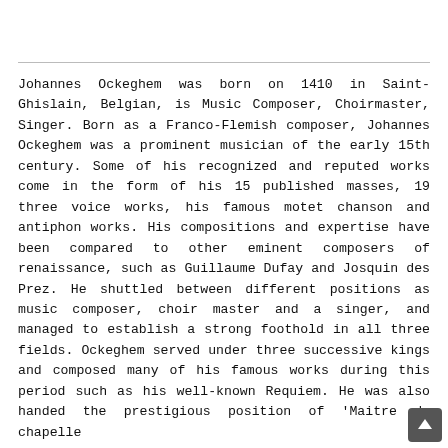Johannes Ockeghem was born on 1410 in Saint-Ghislain, Belgian, is Music Composer, Choirmaster, Singer. Born as a Franco-Flemish composer, Johannes Ockeghem was a prominent musician of the early 15th century. Some of his recognized and reputed works come in the form of his 15 published masses, 19 three voice works, his famous motet chanson and antiphon works. His compositions and expertise have been compared to other eminent composers of renaissance, such as Guillaume Dufay and Josquin des Prez. He shuttled between different positions as music composer, choir master and a singer, and managed to establish a strong foothold in all three fields. Ockeghem served under three successive kings and composed many of his famous works during this period such as his well-known Requiem. He was also handed the prestigious position of 'Maitre de chapelle